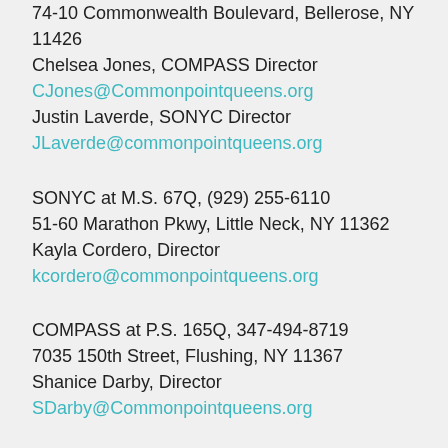74-10 Commonwealth Boulevard, Bellerose, NY 11426
Chelsea Jones, COMPASS Director
CJones@Commonpointqueens.org
Justin Laverde, SONYC Director
JLaverde@commonpointqueens.org
SONYC at M.S. 67Q, (929) 255-6110
51-60 Marathon Pkwy, Little Neck, NY 11362
Kayla Cordero, Director
kcordero@commonpointqueens.org
COMPASS at P.S. 165Q, 347-494-8719
7035 150th Street, Flushing, NY 11367
Shanice Darby, Director
SDarby@Commonpointqueens.org
P.S./M.S. 200Q, 718-374-1461
70-10 164th Street, Flushing, NY 11365